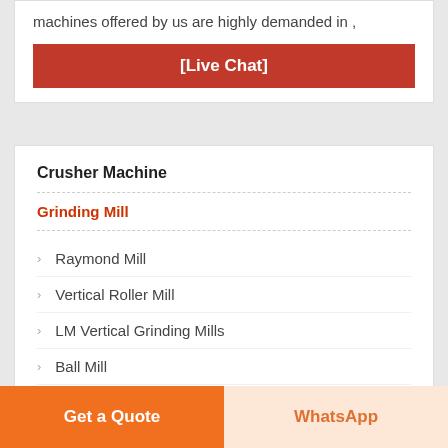machines offered by us are highly demanded in ,
[Figure (other): [Live Chat] button in dark red]
Crusher Machine
Grinding Mill
Raymond Mill
Vertical Roller Mill
LM Vertical Grinding Mills
Ball Mill
SCM Ultrafine Mill
Get a Quote | WhatsApp